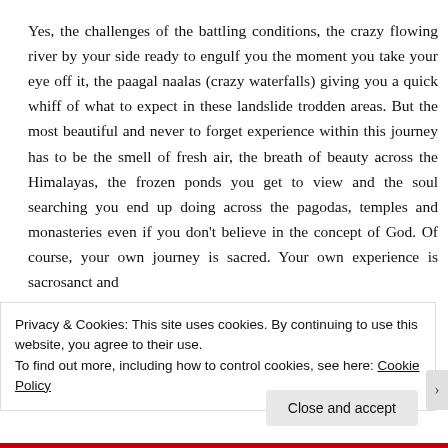Yes, the challenges of the battling conditions, the crazy flowing river by your side ready to engulf you the moment you take your eye off it, the paagal naalas (crazy waterfalls) giving you a quick whiff of what to expect in these landslide trodden areas. But the most beautiful and never to forget experience within this journey has to be the smell of fresh air, the breath of beauty across the Himalayas, the frozen ponds you get to view and the soul searching you end up doing across the pagodas, temples and monasteries even if you don't believe in the concept of God. Of course, your own journey is sacred. Your own experience is sacrosanct and
Privacy & Cookies: This site uses cookies. By continuing to use this website, you agree to their use.
To find out more, including how to control cookies, see here: Cookie Policy